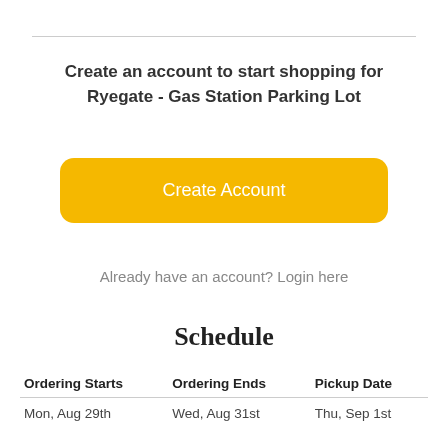Create an account to start shopping for Ryegate - Gas Station Parking Lot
Create Account
Already have an account? Login here
Schedule
| Ordering Starts | Ordering Ends | Pickup Date |
| --- | --- | --- |
| Mon, Aug 29th | Wed, Aug 31st | Thu, Sep 1st |